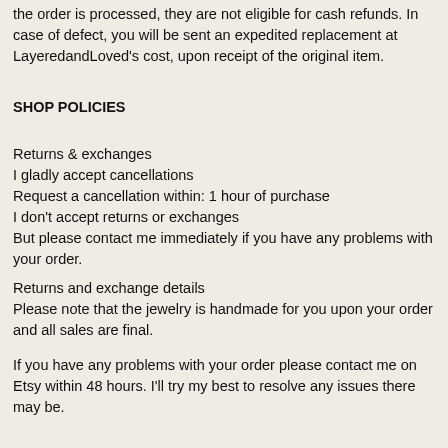the order is processed, they are not eligible for cash refunds. In case of defect, you will be sent an expedited replacement at LayeredandLoved's cost, upon receipt of the original item.
SHOP POLICIES
Returns & exchanges
I gladly accept cancellations
Request a cancellation within: 1 hour of purchase
I don't accept returns or exchanges
But please contact me immediately if you have any problems with your order.
Returns and exchange details
Please note that the jewelry is handmade for you upon your order and all sales are final.
If you have any problems with your order please contact me on Etsy within 48 hours. I'll try my best to resolve any issues there may be.